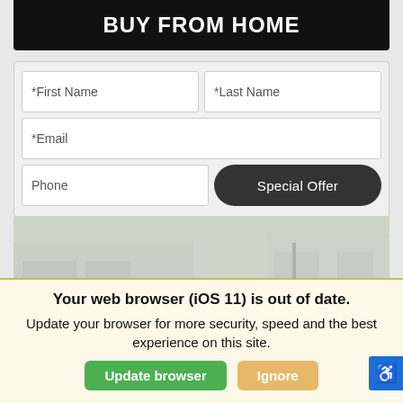BUY FROM HOME
[Figure (screenshot): Web form with fields for First Name, Last Name, Email, Phone, and a Special Offer button]
[Figure (photo): Car dealership lot with multiple vehicles including a dark SUV and white sedan parked outside a modern building]
Your web browser (iOS 11) is out of date. Update your browser for more security, speed and the best experience on this site.
Update browser
Ignore